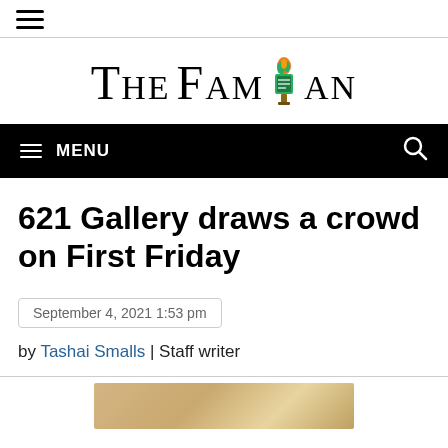☰ (hamburger menu icon)
[Figure (logo): The Famuan newspaper logo with torch/flame icon replacing the letter U]
☰ MENU (navigation bar with search icon)
621 Gallery draws a crowd on First Friday
September 4, 2021 1:53 pm
by Tashai Smalls | Staff writer
[Figure (photo): Partial view of a photo at the bottom of the page, appears to show an outdoor scene with warm golden tones]